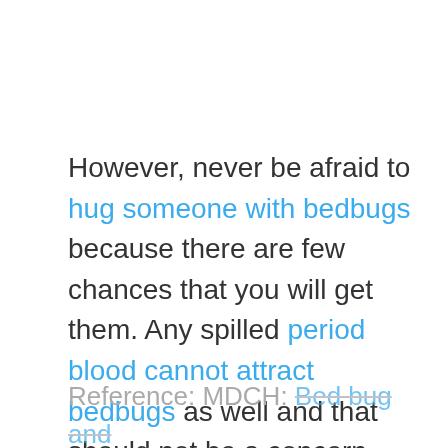However, never be afraid to hug someone with bedbugs because there are few chances that you will get them. Any spilled period blood cannot attract bedbugs as well and that should not be a concern.
Reference: MDCH: Bed bug and mattress – Michigan